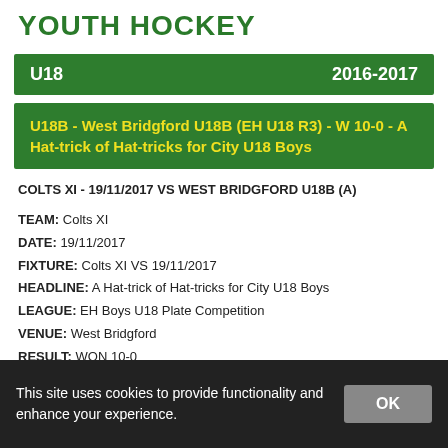YOUTH HOCKEY
U18   2016-2017
U18B - West Bridgford U18B (EH U18 R3) - W 10-0 - A Hat-trick of Hat-tricks for City U18 Boys
COLTS XI - 19/11/2017 VS WEST BRIDGFORD U18B (A)
TEAM: Colts XI
DATE: 19/11/2017
FIXTURE: Colts XI VS 19/11/2017
HEADLINE: A Hat-trick of Hat-tricks for City U18 Boys
LEAGUE: EH Boys U18 Plate Competition
VENUE: West Bridgford
RESULT: WON 10-0
REPORT:
This site uses cookies to provide functionality and enhance your experience.